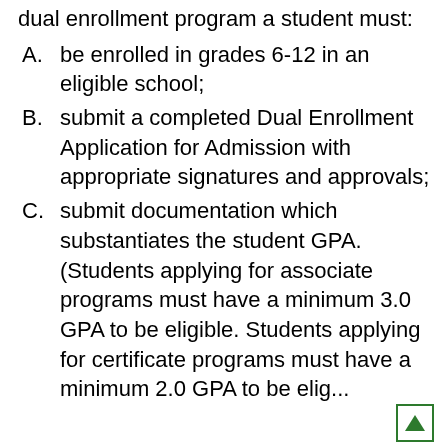dual enrollment program a student must:
A. be enrolled in grades 6-12 in an eligible school;
B. submit a completed Dual Enrollment Application for Admission with appropriate signatures and approvals;
C. submit documentation which substantiates the student GPA. (Students applying for associate programs must have a minimum 3.0 GPA to be eligible. Students applying for certificate programs must have a minimum 2.0 GPA to be elig...